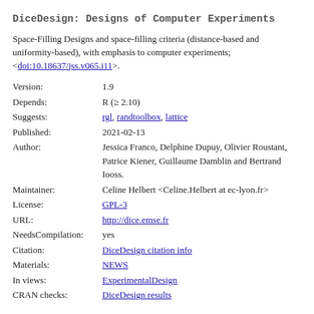DiceDesign: Designs of Computer Experiments
Space-Filling Designs and space-filling criteria (distance-based and uniformity-based), with emphasis to computer experiments; <doi:10.18637/jss.v065.i11>.
| Version: | 1.9 |
| Depends: | R (≥ 2.10) |
| Suggests: | rgl, randtoolbox, lattice |
| Published: | 2021-02-13 |
| Author: | Jessica Franco, Delphine Dupuy, Olivier Roustant, Patrice Kiener, Guillaume Damblin and Bertrand Iooss. |
| Maintainer: | Celine Helbert <Celine.Helbert at ec-lyon.fr> |
| License: | GPL-3 |
| URL: | http://dice.emse.fr |
| NeedsCompilation: | yes |
| Citation: | DiceDesign citation info |
| Materials: | NEWS |
| In views: | ExperimentalDesign |
| CRAN checks: | DiceDesign results |